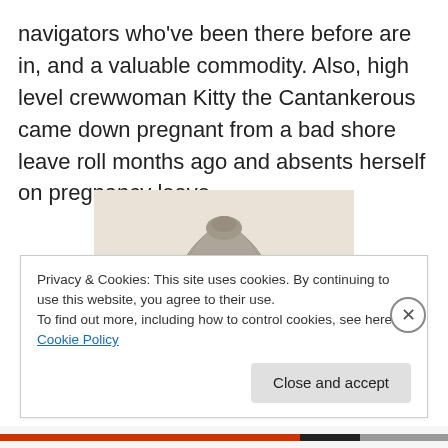navigators who've been there before are in, and a valuable commodity.  Also, high level crewwoman Kitty the Cantankerous came down pregnant from a bad shore leave roll months ago and absents herself on pregnancy leave.
[Figure (photo): Sepia/grayscale pencil sketch or engraving portrait of a person wearing a turban, facing slightly to the right, visible from shoulders up.]
Privacy & Cookies: This site uses cookies. By continuing to use this website, you agree to their use.
To find out more, including how to control cookies, see here: Cookie Policy
Close and accept